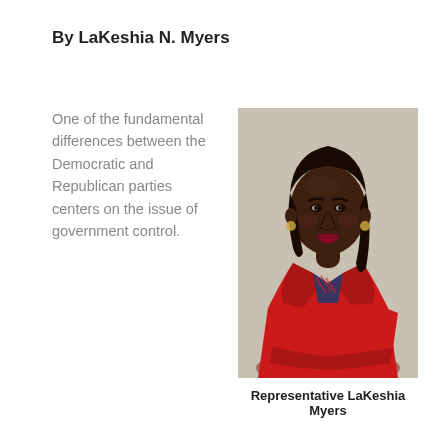By LaKeshia N. Myers
One of the fundamental differences between the Democratic and Republican parties centers on the issue of government control.
[Figure (photo): Portrait photo of Representative LaKeshia Myers, a woman wearing a red blazer with arms crossed, posed against a light gray background.]
Representative LaKeshia Myers